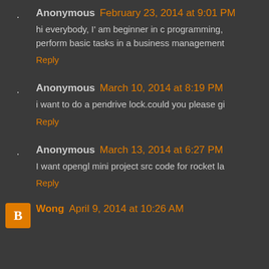Anonymous February 23, 2014 at 9:01 PM
hi everybody, I' am beginner in c programming, perform basic tasks in a business management
Reply
Anonymous March 10, 2014 at 8:19 PM
i want to do a pendrive lock.could you please gi
Reply
Anonymous March 13, 2014 at 6:27 PM
I want opengl mini project src code for rocket la
Reply
Wong April 9, 2014 at 10:26 AM